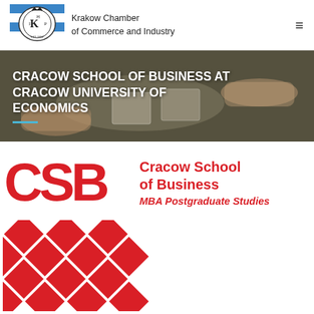[Figure (logo): Krakow Chamber of Commerce and Industry logo with blue and white striped shield and circular emblem]
Krakow Chamber of Commerce and Industry
[Figure (illustration): Hands assembling puzzle pieces on a wooden table, banner background image]
CRACOW SCHOOL OF BUSINESS AT CRACOW UNIVERSITY OF ECONOMICS
[Figure (logo): CSB Cracow School of Business MBA Postgraduate Studies logo in red]
[Figure (illustration): Red diamond/checkerboard pattern decorative element at bottom of page]